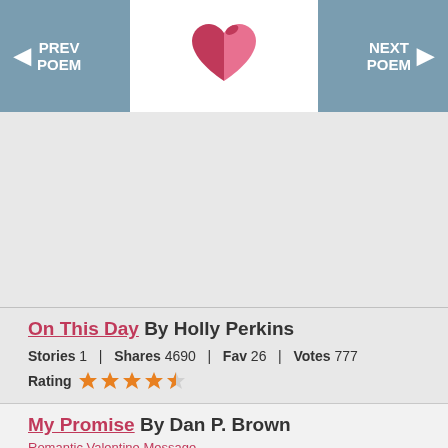PREV POEM | [logo] | NEXT POEM
[Figure (logo): FaithPopcorn or poetry site logo: a pink/red broken heart icon]
On This Day By Holly Perkins
Stories 1  |  Shares 4690  |  Fav 26  |  Votes 777
Rating  ★★★★½
My Promise By Dan P. Brown
Romantic Valentine Message